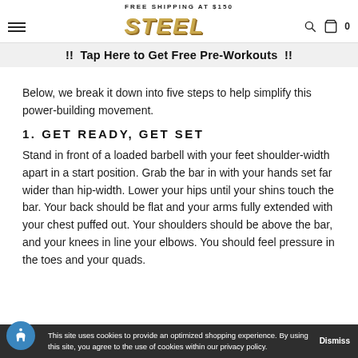FREE SHIPPING AT $150
[Figure (logo): STEEL brand logo in gold italic bold text]
!! Tap Here to Get Free Pre-Workouts !!
Below, we break it down into five steps to help simplify this power-building movement.
1. GET READY, GET SET
Stand in front of a loaded barbell with your feet shoulder-width apart in a start position. Grab the bar in with your hands set far wider than hip-width. Lower your hips until your shins touch the bar. Your back should be flat and your arms fully extended with your chest puffed out. Your shoulders should be above the bar, and your knees in line your elbows. You should feel pressure in the toes and your quads.
This site uses cookies to provide an optimized shopping experience. By using this site, you agree to the use of cookies within our privacy policy.    Dismiss